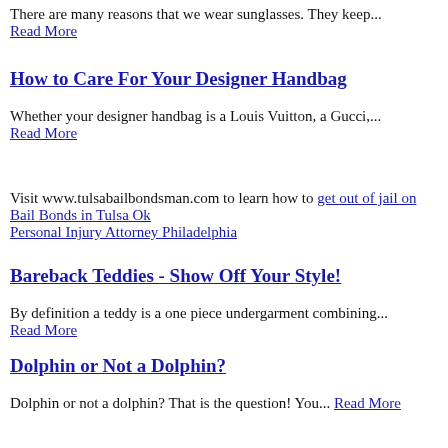There are many reasons that we wear sunglasses. They keep... Read More
How to Care For Your Designer Handbag
Whether your designer handbag is a Louis Vuitton, a Gucci,... Read More
Visit www.tulsabailbondsman.com to learn how to get out of jail on Bail Bonds in Tulsa Ok
Personal Injury Attorney Philadelphia
Bareback Teddies - Show Off Your Style!
By definition a teddy is a one piece undergarment combining... Read More
Dolphin or Not a Dolphin?
Dolphin or not a dolphin? That is the question! You... Read More